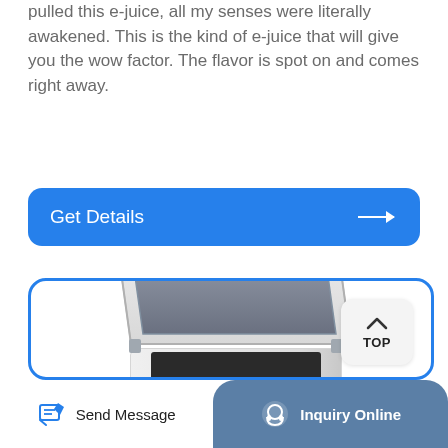pulled this e-juice, all my senses were literally awakened. This is the kind of e-juice that will give you the wow factor. The flavor is spot on and comes right away.
[Figure (other): Blue rounded button with text 'Get Details' and a right-pointing arrow]
[Figure (photo): White chest freezer with open lid, shown on white background, inside a blue-bordered rounded card with a 'TOP' button in the upper right]
[Figure (other): Bottom navigation bar with 'Send Message' button on left and 'Inquiry Online' on right with teal background]